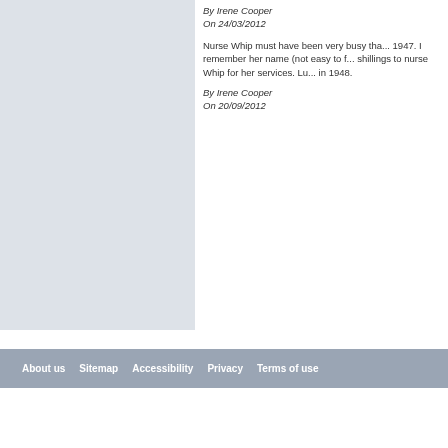By Irene Cooper
On 24/03/2012
Nurse Whip must have been very busy tha... 1947. I remember her name (not easy to f... shillings to nurse Whip for her services. Lu... in 1948.
By Irene Cooper
On 20/09/2012
I was born in February 1947. My mum was... hours and neither the midwife nor doctor w... complicate matters, I was a totally unexpe... by the next door neighbour.
By Christine Gawthorpe nee Watts
On 22/09/2012
Add a comment about this page
About us   Sitemap   Accessibility   Privacy   Terms of use